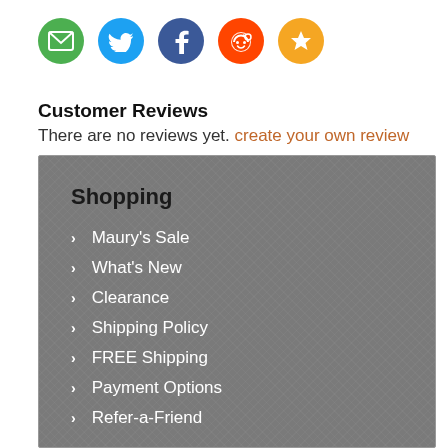[Figure (infographic): Row of 5 social sharing icon circles: email (green), Twitter (blue), Facebook (dark blue), Reddit (orange-red), star/favorite (orange)]
Customer Reviews
There are no reviews yet. create your own review
Shopping
Maury's Sale
What's New
Clearance
Shipping Policy
FREE Shipping
Payment Options
Refer-a-Friend
Customer Service